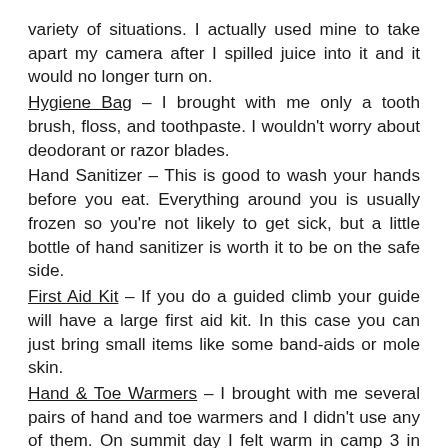variety of situations. I actually used mine to take apart my camera after I spilled juice into it and it would no longer turn on.
Hygiene Bag – I brought with me only a tooth brush, floss, and toothpaste. I wouldn't worry about deodorant or razor blades.
Hand Sanitizer – This is good to wash your hands before you eat. Everything around you is usually frozen so you're not likely to get sick, but a little bottle of hand sanitizer is worth it to be on the safe side.
First Aid Kit – If you do a guided climb your guide will have a large first aid kit. In this case you can just bring small items like some band-aids or mole skin.
Hand & Toe Warmers – I brought with me several pairs of hand and toe warmers and I didn't use any of them. On summit day I felt warm in camp 3 in the morning which is the coldest part of the day so I left the warmers behind. Later my extremities began to get numb from the cold even though my body felt